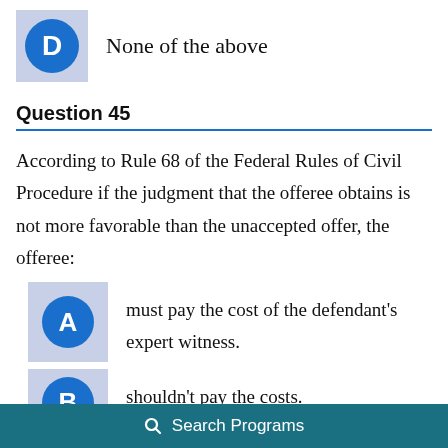D  None of the above
Question 45
According to Rule 68 of the Federal Rules of Civil Procedure if the judgment that the offeree obtains is not more favorable than the unaccepted offer, the offeree:
A  must pay the cost of the defendant's expert witness.
B  shouldn't pay the costs.
Search Programs